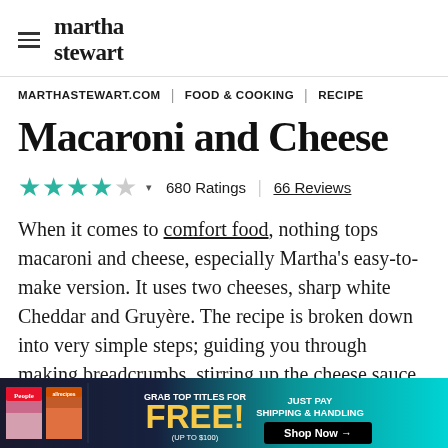martha stewart
MARTHASTEWART.COM | FOOD & COOKING | RECIPE
Macaroni and Cheese
★★★★☆ 680 Ratings | 66 Reviews
When it comes to comfort food, nothing tops macaroni and cheese, especially Martha's easy-to-make version. It uses two cheeses, sharp white Cheddar and Gruyère. The recipe is broken down into very simple steps; guiding you through making breadcrumbs, stirring up the cheese sauce, cooking the m
[Figure (other): Advertisement banner: People and allrecipes magazine covers on left, 'GRAB TOP TITLES FOR FREE! (UP TO $100)' in yellow text on teal background, 'JUST PAY SHIPPING & HANDLING' with 'Shop Now →' button on right.]